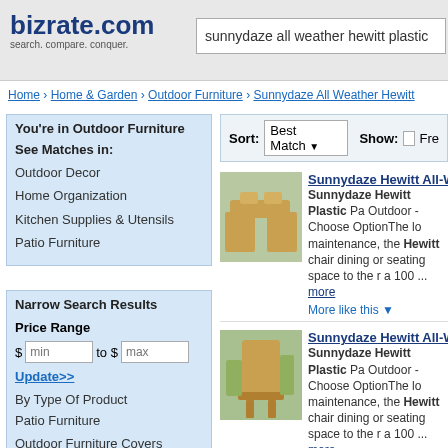bizrate.com search. compare. conquer.
sunnydaze all weather hewitt plastic
Home › Home & Garden › Outdoor Furniture › Sunnydaze All Weather Hewitt
You're in Outdoor Furniture
See Matches in:
Outdoor Decor
Home Organization
Kitchen Supplies & Utensils
Patio Furniture
Narrow Search Results
Price Range
$ min to $ max
Update>>
By Type Of Product
Patio Furniture
Outdoor Furniture Covers
Hammocks & Stands
Picnic Tables
Sort: Best Match   Show: Free
Sunnydaze Hewitt All-W... Sunnydaze Hewitt Plastic Pa Outdoor - Choose OptionThe lo maintenance, the Hewitt chair dining or seating space to the r a 100 ... more. More like this ▼
Sunnydaze Hewitt All-W... Sunnydaze Hewitt Plastic Pa Outdoor - Choose OptionThe lo maintenance, the Hewitt chair dining or seating space to the r a 100 ... more. More like this ▼
Sunnydaze Hewitt All-W... Sunnydaze Hewitt Plastic Pa Outdoor - Choose OptionThe lo